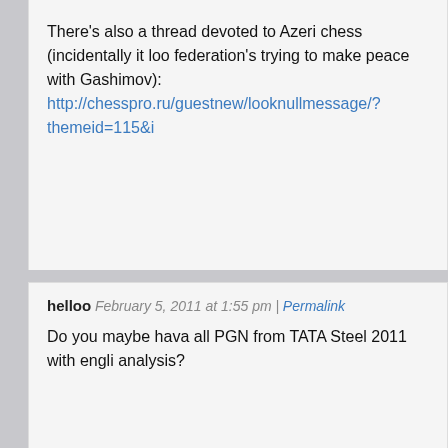There’s also a thread devoted to Azeri chess (incidentally it loo federation’s trying to make peace with Gashimov): http://chesspro.ru/guestnew/looknullmessage/?themeid=115&i
helloo February 5, 2011 at 1:55 pm | Permalink
Do you maybe hava all PGN from TATA Steel 2011 with engli analysis?
mishanp February 5, 2011 at 2:25 pm | Permalink
Not yet, but I’m planning to do that in the next couple of days took longer than expected! I’ll post something as soon as it’s re